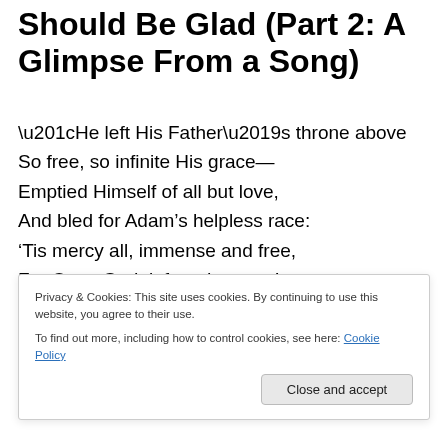Should Be Glad (Part 2: A Glimpse From a Song)
“He left His Father’s throne above
So free, so infinite His grace—
Emptied Himself of all but love,
And bled for Adam’s helpless race:
‘Tis mercy all, immense and free,
For O my God, it found out me!
‘Tis mercy all, immense and free,
Privacy & Cookies: This site uses cookies. By continuing to use this website, you agree to their use.
To find out more, including how to control cookies, see here: Cookie Policy